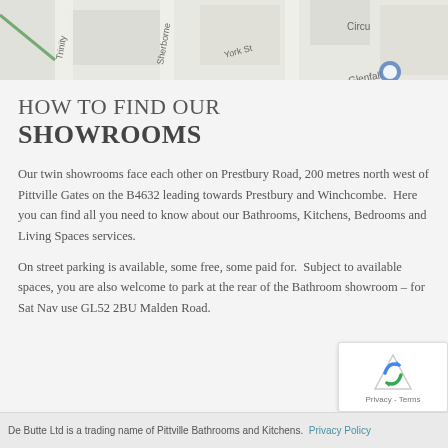[Figure (map): Partial street map showing Trinity, Sherborne, York St, Glenfall St, and Circu (partial) labels on roads]
HOW TO FIND OUR SHOWROOMS
Our twin showrooms face each other on Prestbury Road, 200 metres north west of Pittville Gates on the B4632 leading towards Prestbury and Winchcombe.  Here you can find all you need to know about our Bathrooms, Kitchens, Bedrooms and Living Spaces services.
On street parking is available, some free, some paid for.  Subject to available spaces, you are also welcome to park at the rear of the Bathroom showroom – for Sat Nav use GL52 2BU Malden Road.
De Butte Ltd is a trading name of Pittville Bathrooms and Kitchens.  Privacy Policy